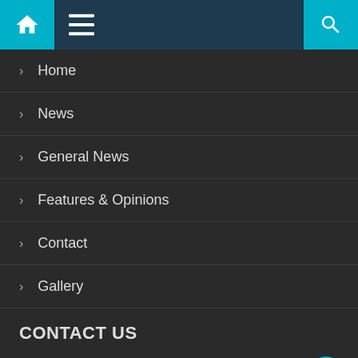[Figure (screenshot): Navigation bar with home icon, hamburger menu icon, and search icon on dark blue background with teal accent buttons]
Home
News
General News
Features & Opinions
Contact
Gallery
CONTACT US
C90/24, 2nd Osu Badu Street
Dzorwwulu